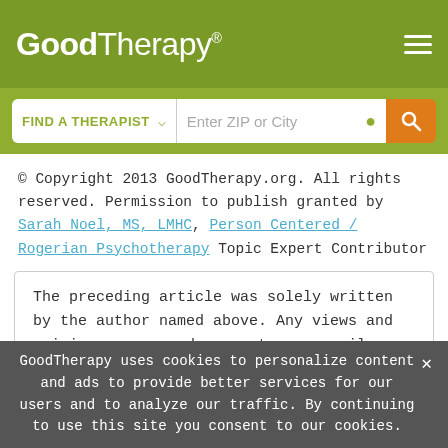GoodTherapy®
[Figure (screenshot): GoodTherapy website header with logo and hamburger menu on olive green background, and search bar with 'FIND A THERAPIST' dropdown and 'Enter ZIP or City' input field with orange search button]
© Copyright 2013 GoodTherapy.org. All rights reserved. Permission to publish granted by Sarah Noel, MS, LMHC, Person Centered / Rogerian Psychotherapy Topic Expert Contributor
The preceding article was solely written by the author named above. Any views and opinions expressed are not necessarily shared by GoodTherapy.org. Questions or concerns about the preceding article can be directed to the author or posted as a comment below.
GoodTherapy uses cookies to personalize content and ads to provide better services for our users and to analyze our traffic. By continuing to use this site you consent to our cookies.